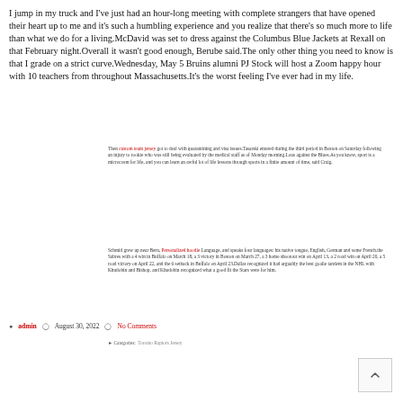I jump in my truck and I've just had an hour-long meeting with complete strangers that have opened their heart up to me and it's such a humbling experience and you realize that there's so much more to life than what we do for a living.McDavid was set to dress against the Columbus Blue Jackets at Rexall on that February night.Overall it wasn't good enough, Berube said.The only other thing you need to know is that I grade on a strict curve.Wednesday, May 5 Bruins alumni PJ Stock will host a Zoom happy hour with 10 teachers from throughout Massachusetts.It's the worst feeling I've ever had in my life.
Then custom team jersey got to deal with quarantining and visa issues.Tasarski entered during the third period in Boston on Saturday following an injury to rookie who was still being evaluated by the medical staff as of Monday morning.Lous against the Blues.As you know, sport is a microcosm for life, and you can learn an awful lot of life lessons through sports in a finite amount of time, said Craig.
Schmid grew up near Bern, Personalized hoodie Language, and speaks four languages: his native tongue, English, German and some French.the Sabres with a 4 win in Buffalo on March 18, a 3 victory in Boston on March 27, a 3 home shootout win on April 13, a 2 road win on April 20, a 5 road victory on April 22, and the 6 setback in Buffalo on April 23.Dallas recognized it had arguably the best goalie tandem in the NHL with Khudobin and Bishop, and Khudobin recognized what a good fit the Stars were for him.
admin   August 30, 2022   No Comments
Categories:  Toronto Raptors Jersey